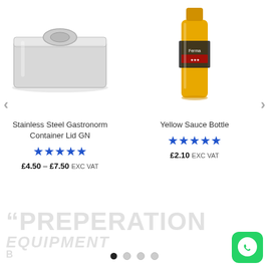[Figure (photo): Stainless steel gastronorm container lid, silver metallic, rectangular with rounded handle in center]
Stainless Steel Gastronorm Container Lid GN
★★★★★
£4.50 – £7.50 EXC VAT
[Figure (photo): Yellow sauce bottle, tall cylindrical, with label, brand Ferma]
Yellow Sauce Bottle
★★★★★
£2.10 EXC VAT
"PREPERATION
EQUIPMENT
B
[Figure (logo): WhatsApp logo, green rounded square with white phone handset icon]